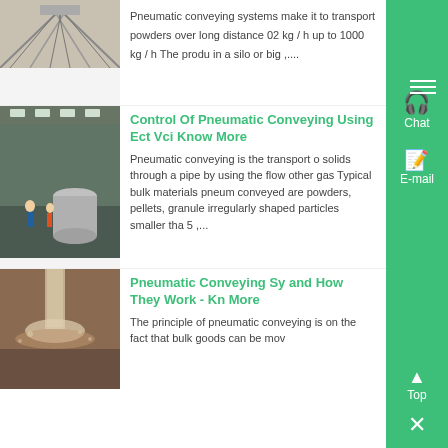[Figure (photo): Industrial conveyor structure viewed from below, showing angled metal slats]
Pneumatic conveying systems make it to transport powders over long distance 02 kg / h up to 1000 kg / h The produ in a silo or big ,...
[Figure (photo): Industrial warehouse floor with workers and large cylindrical machinery]
Control Of Pneumatic Conveying Using Ect Vci Know More
Pneumatic conveying is the transport o solids through a pipe by using the flow other gas Typical bulk materials pneum conveyed are powders, pellets, granule irregularly shaped particles smaller tha 5 ,...
[Figure (photo): Industrial pneumatic conveying pipe with material discharge or splash]
Pneumatic Conveying Sy and How They Work - Kn More
The principle of pneumatic conveying is on the fact that bulk goods can be mov